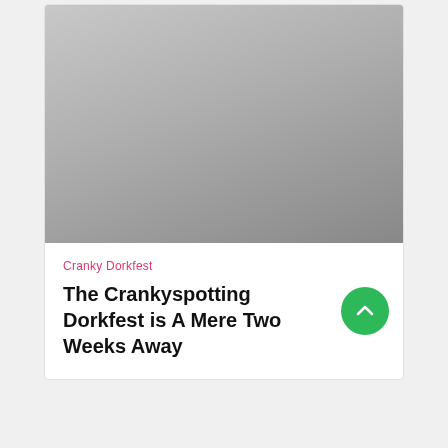[Figure (photo): Gray gradient placeholder image at the top of the article card]
Cranky Dorkfest
The Crankyspotting Dorkfest is A Mere Two Weeks Away